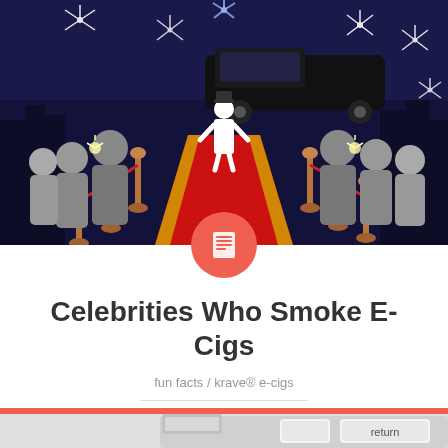[Figure (illustration): Red carpet scene with a limousine, chauffeur in white suit, velvet rope barriers with golden posts, paparazzi with camera flashes, and crowd silhouettes against a dark blue night sky with fireworks/flashes]
Celebrities Who Smoke E-Cigs
fun facts / krave® e-cigs
[Figure (photo): Close-up of a keyboard key labeled 'return']